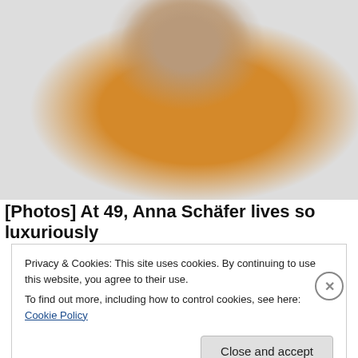[Figure (photo): A woman with short hair wearing an orange/mustard turtleneck sweater, looking over her shoulder against a light grey background.]
[Photos] At 49, Anna Schäfer lives so luxuriously
Privacy & Cookies: This site uses cookies. By continuing to use this website, you agree to their use.
To find out more, including how to control cookies, see here: Cookie Policy